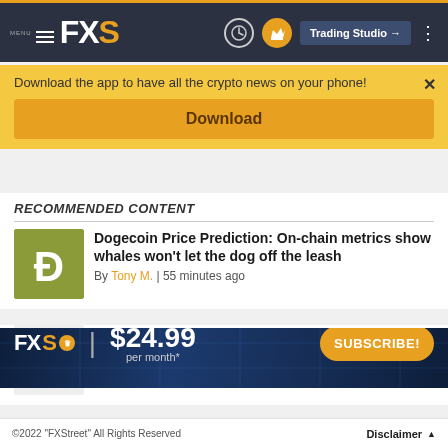MENU FXS | Trading Studio
Download the app to have all the crypto news on your phone!
Download
RECOMMENDED CONTENT
Dogecoin Price Prediction: On-chain metrics show whales won't let the dog off the leash
By Tony M. | 55 minutes ago
Shiba Inu price rallies 15%, but the dog smells like a smart money trap
FXS | $24.99 per month* SUBSCRIBE!
©2022 "FXStreet" All Rights Reserved    Disclaimer ▲